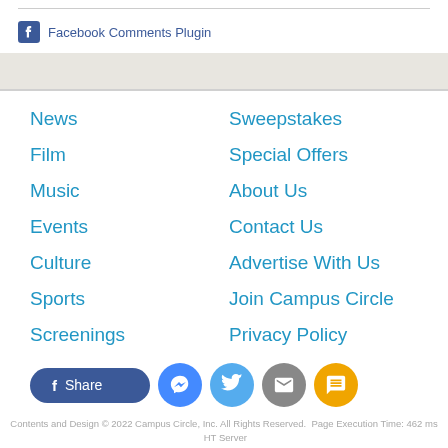Facebook Comments Plugin
News
Sweepstakes
Film
Special Offers
Music
About Us
Events
Contact Us
Culture
Advertise With Us
Sports
Join Campus Circle
Screenings
Privacy Policy
Contents and Design © 2022 Campus Circle, Inc. All Rights Reserved.  Page Execution Time: 462 ms  HT Server